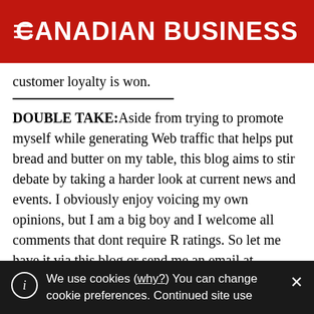CANADIAN BUSINESS
customer loyalty is won.
DOUBLE TAKE: Aside from trying to promote myself while generating Web traffic that helps put bread and butter on my table, this blog aims to stir debate by taking a harder look at current news and events. I obviously enjoy voicing my own opinions, but I am a big boy and I welcome all comments that dont require R ratings. So let me have it via this blog or send me an email at tom.watson@canadianbusiness.rogers.com. I reserve the right to post email comments without
We use cookies (why?) You can change cookie preferences. Continued site use